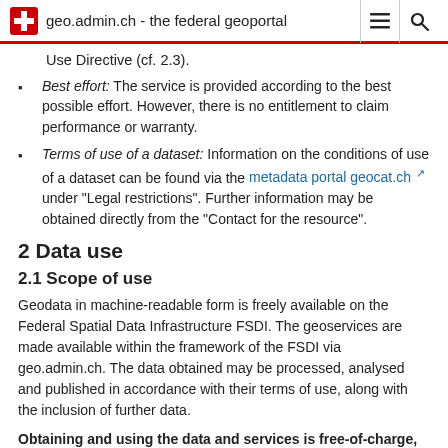geo.admin.ch - the federal geoportal
Use Directive (cf. 2.3).
Best effort: The service is provided according to the best possible effort. However, there is no entitlement to claim performance or warranty.
Terms of use of a dataset: Information on the conditions of use of a dataset can be found via the metadata portal geocat.ch under "Legal restrictions". Further information may be obtained directly from the "Contact for the resource".
2 Data use
2.1 Scope of use
Geodata in machine-readable form is freely available on the Federal Spatial Data Infrastructure FSDI. The geoservices are made available within the framework of the FSDI via geo.admin.ch. The data obtained may be processed, analysed and published in accordance with their terms of use, along with the inclusion of further data.
Obtaining and using the data and services is free-of-charge, subject to the provisions on fair use.